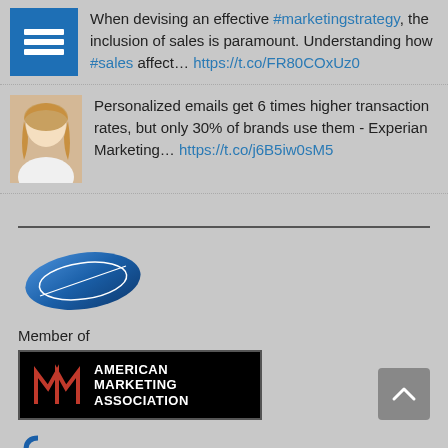When devising an effective #marketingstrategy, the inclusion of sales is paramount. Understanding how #sales affect… https://t.co/FR80COxUz0
Personalized emails get 6 times higher transaction rates, but only 30% of brands use them - Experian Marketing… https://t.co/j6B5iw0sM5
[Figure (logo): Oval/leaf shaped blue logo]
Member of
[Figure (logo): American Marketing Association logo badge - black background with red M marks and white text]
[Figure (logo): BBB logo partial view at bottom]